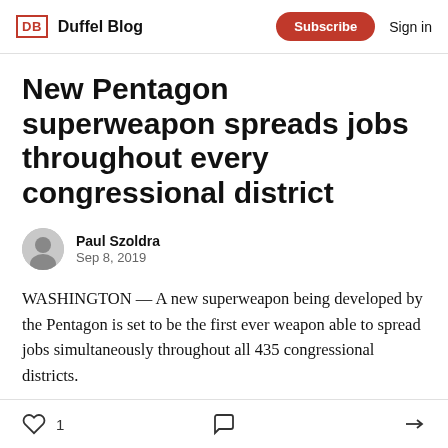DB Duffel Blog | Subscribe | Sign in
New Pentagon superweapon spreads jobs throughout every congressional district
Paul Szoldra
Sep 8, 2019
WASHINGTON — A new superweapon being developed by the Pentagon is set to be the first ever weapon able to spread jobs simultaneously throughout all 435 congressional districts.
1 [like] [comment] [share]